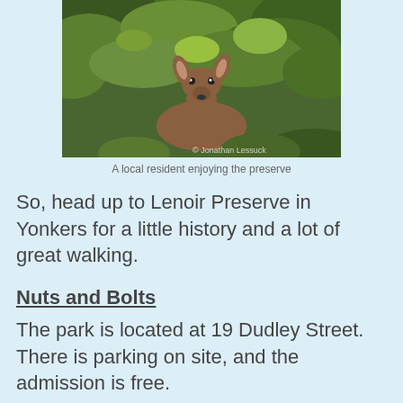[Figure (photo): A deer facing the camera surrounded by green foliage in a nature preserve. Photo credit: © Jonathan Lessuck]
A local resident enjoying the preserve
So, head up to Lenoir Preserve in Yonkers for a little history and a lot of great walking.
Nuts and Bolts
The park is located at 19 Dudley Street. There is parking on site, and the admission is free.